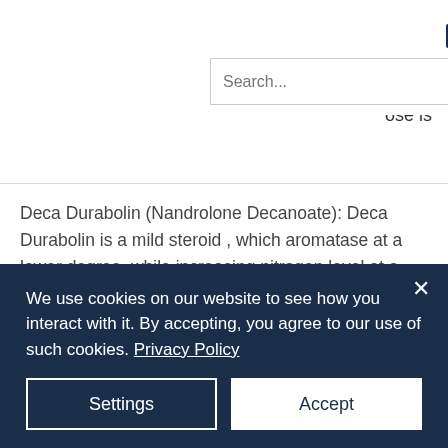[Figure (screenshot): Website navigation bar with shopping cart icon showing 0 items, hamburger menu icon, and a search bar with text 'Search...' and a dark blue search button]
le usa.
ose is
Deca Durabolin (Nandrolone Decanoate): Deca Durabolin is a mild steroid , which aromatase at a lower degree, while increasing nitrogen level at a significant rate, testo max nz. The effect has an affinity of 6, mk-2866 (ostarine) - 50mg/ml @ 30ml.5% for estradiol and the rate of increase to a maximum of 5%; it can act on 3% of the body weight per day, mk-2866 (ostarine) -
We use cookies on our website to see how you interact with it. By accepting, you agree to our use of such cookies. Privacy Policy
Settings
Accept